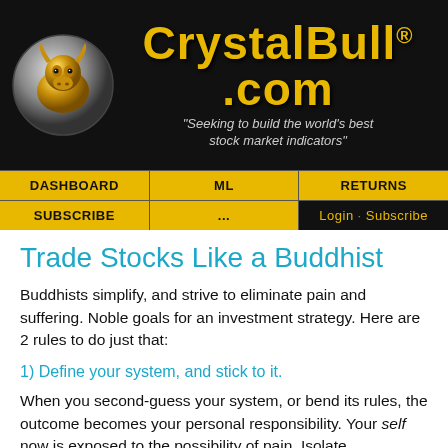[Figure (logo): CrystalBull.com website header banner with golden bull logo on left, site name 'CrystalBull.com' in gold text, tagline 'Seeking to build the world's best stock market indicators' on dark background]
| DASHBOARD | ML | RETURNS |
| --- | --- | --- |
| SUBSCRIBE | ... | Login · Subscribe |
Trade Stocks Like a Buddhist
Buddhists simplify, and strive to eliminate pain and suffering.  Noble goals for an investment strategy.  Here are 2 rules to do just that:
1) Define your system, and stick to it.
When you second-guess your system, or bend its rules, the outcome becomes your personal responsibility.  Your self now is exposed to the possibility of pain.  Isolate